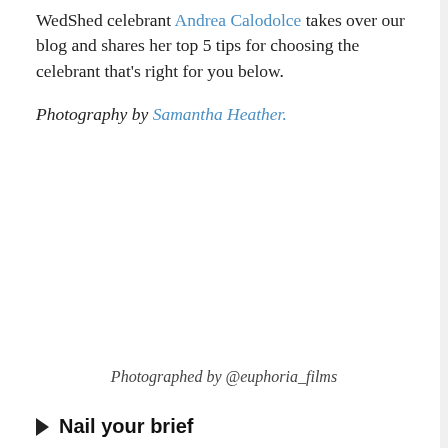WedShed celebrant Andrea Calodolce takes over our blog and shares her top 5 tips for choosing the celebrant that's right for you below.
Photography by Samantha Heather.
Photographed by @euphoria_films
Nail your brief